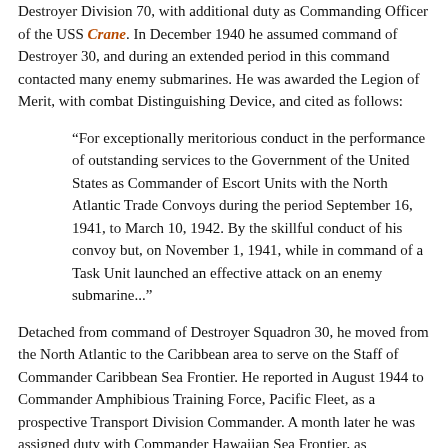Destroyer Division 70, with additional duty as Commanding Officer of the USS Crane. In December 1940 he assumed command of Destroyer 30, and during an extended period in this command contacted many enemy submarines. He was awarded the Legion of Merit, with combat Distinguishing Device, and cited as follows:
“For exceptionally meritorious conduct in the performance of outstanding services to the Government of the United States as Commander of Escort Units with the North Atlantic Trade Convoys during the period September 16, 1941, to March 10, 1942. By the skillful conduct of his convoy but, on November 1, 1941, while in command of a Task Unit launched an effective attack on an enemy submarine...”
Detached from command of Destroyer Squadron 30, he moved from the North Atlantic to the Caribbean area to serve on the Staff of Commander Caribbean Sea Frontier. He reported in August 1944 to Commander Amphibious Training Force, Pacific Fleet, as a prospective Transport Division Commander. A month later he was assigned duty with Commander Hawaiian Sea Frontier, as Commander Sea Forces, with additional duty as Commanding Officer, Section Base. That duty continued until the cessation of hostilities in August 1945, after which, for